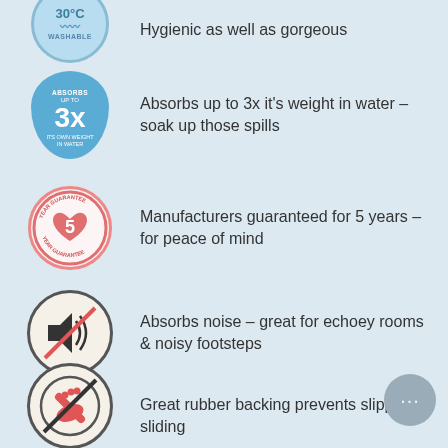Hygienic as well as gorgeous
Absorbs up to 3x it's weight in water – soak up those spills
Manufacturers guaranteed for 5 years – for peace of mind
Absorbs noise – great for echoey rooms & noisy footsteps
Great rubber backing prevents slipping & sliding